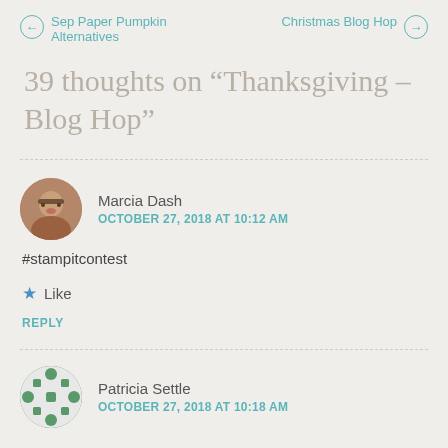← Sep Paper Pumpkin Alternatives    Christmas Blog Hop →
39 thoughts on “Thanksgiving – Blog Hop”
Marcia Dash
OCTOBER 27, 2018 AT 10:12 AM
#stampitcontest
★ Like
REPLY
Patricia Settle
OCTOBER 27, 2018 AT 10:18 AM